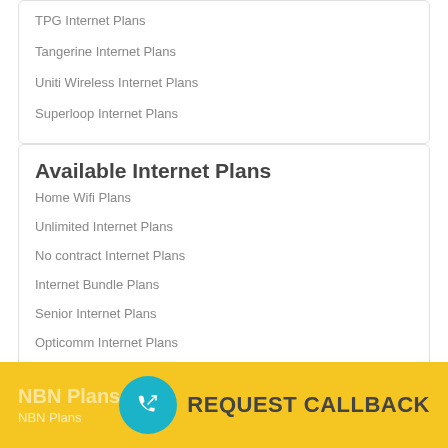TPG Internet Plans
Tangerine Internet Plans
Uniti Wireless Internet Plans
Superloop Internet Plans
Available Internet Plans
Home Wifi Plans
Unlimited Internet Plans
No contract Internet Plans
Internet Bundle Plans
Senior Internet Plans
Opticomm Internet Plans
NBN Plans
REQUEST CALLBACK